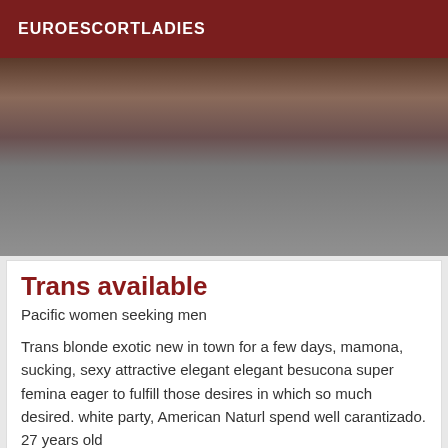EUROESCORTLADIES
[Figure (photo): Close-up photo of a person wearing a dark top, showing torso area with hands visible]
Trans available
Pacific women seeking men
Trans blonde exotic new in town for a few days, mamona, sucking, sexy attractive elegant elegant besucona super femina eager to fulfill those desires in which so much desired. white party, American Naturl spend well carantizado. 27 years old